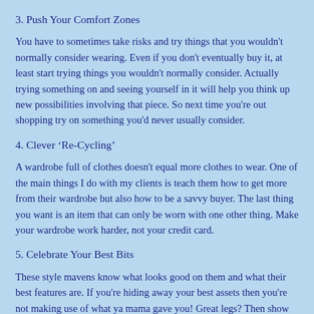3. Push Your Comfort Zones
You have to sometimes take risks and try things that you wouldn't normally consider wearing. Even if you don't eventually buy it, at least start trying things you wouldn't normally consider. Actually trying something on and seeing yourself in it will help you think up new possibilities involving that piece. So next time you're out shopping try on something you'd never usually consider.
4. Clever ‘Re-Cycling’
A wardrobe full of clothes doesn't equal more clothes to wear. One of the main things I do with my clients is teach them how to get more from their wardrobe but also how to be a savvy buyer. The last thing you want is an item that can only be worn with one other thing. Make your wardrobe work harder, not your credit card.
5. Celebrate Your Best Bits
These style mavens know what looks good on them and what their best features are. If you're hiding away your best assets then you're not making use of what ya mama gave you! Great legs? Then show them off! Your clothes should always highlight what's good about your body and celebrate it.
6. Accessories
Use accessories with a bit of thought, they're a great opportunity to add your own personality. Take something that's pretty normal and